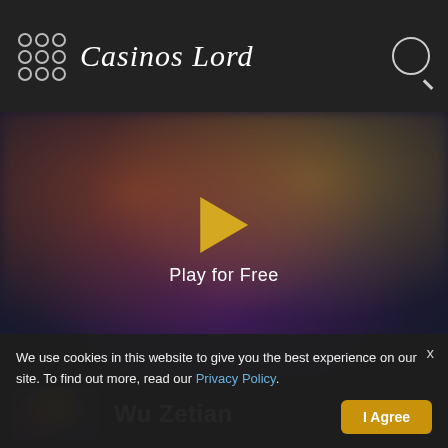Casinos Lord
[Figure (screenshot): Blurred game preview banner with play button triangle and 'Play for Free' text]
Wu Zetian
We use cookies in this website to give you the best experience on our site. To find out more, read our Privacy Policy.
I Agree